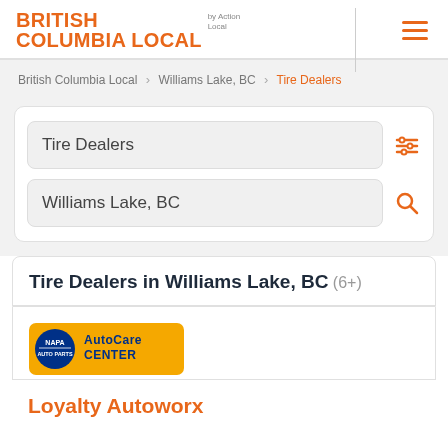BRITISH COLUMBIA LOCAL by Action Local
British Columbia Local > Williams Lake, BC > Tire Dealers
Tire Dealers
Williams Lake, BC
Tire Dealers in Williams Lake, BC (6+)
[Figure (logo): NAPA AutoCare Center logo — yellow background with blue NAPA circle and AutoCare Center text]
Loyalty Autoworx